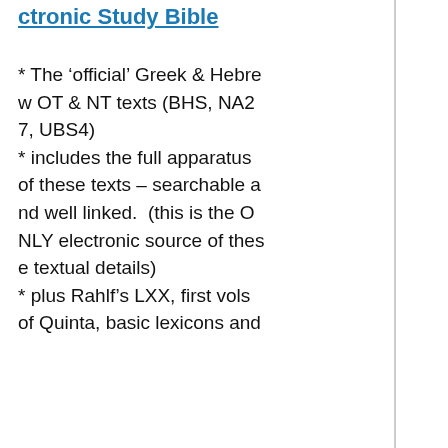ctronic Study Bible
* The ‘official’ Greek & Hebrew OT & NT texts (BHS, NA27, UBS4)
* includes the full apparatus of these texts – searchable and well linked.  (this is the ONLY electronic source of these textual details)
* plus Rahlf’s LXX, first vols of Quinta, basic lexicons and